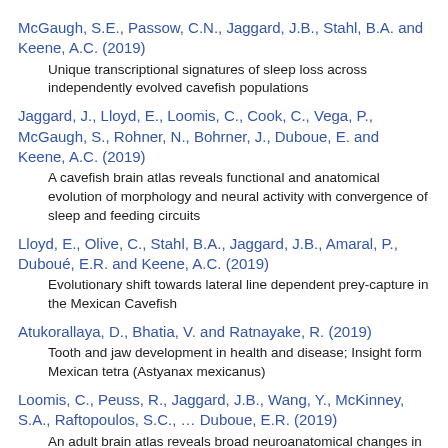McGaugh, S.E., Passow, C.N., Jaggard, J.B., Stahl, B.A. and Keene, A.C. (2019)
Unique transcriptional signatures of sleep loss across independently evolved cavefish populations
Jaggard, J., Lloyd, E., Loomis, C., Cook, C., Vega, P., McGaugh, S., Rohner, N., Bohrner, J., Duboue, E. and Keene, A.C. (2019)
A cavefish brain atlas reveals functional and anatomical evolution of morphology and neural activity with convergence of sleep and feeding circuits
Lloyd, E., Olive, C., Stahl, B.A., Jaggard, J.B., Amaral, P., Duboué, E.R. and Keene, A.C. (2019)
Evolutionary shift towards lateral line dependent prey-capture in the Mexican Cavefish
Atukorallaya, D., Bhatia, V. and Ratnayake, R. (2019)
Tooth and jaw development in health and disease; Insight form Mexican tetra (Astyanax mexicanus)
Loomis, C., Peuss, R., Jaggard, J.B., Wang, Y., McKinney, S.A., Raftopoulos, S.C., … Duboue, E.R. (2019)
An adult brain atlas reveals broad neuroanatomical changes in independently evolved populations of Mexican cavefish